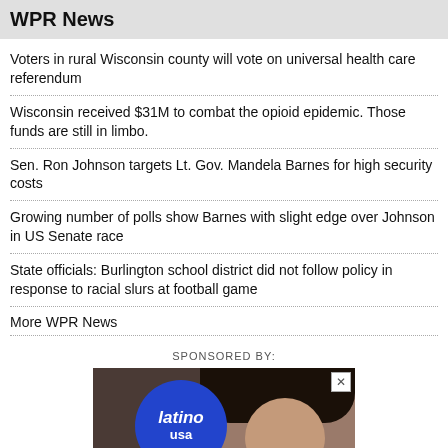WPR News
Voters in rural Wisconsin county will vote on universal health care referendum
Wisconsin received $31M to combat the opioid epidemic. Those funds are still in limbo.
Sen. Ron Johnson targets Lt. Gov. Mandela Barnes for high security costs
Growing number of polls show Barnes with slight edge over Johnson in US Senate race
State officials: Burlington school district did not follow policy in response to racial slurs at football game
More WPR News
SPONSORED BY:
[Figure (photo): Advertisement featuring a woman and the Latino USA logo/circle graphic]